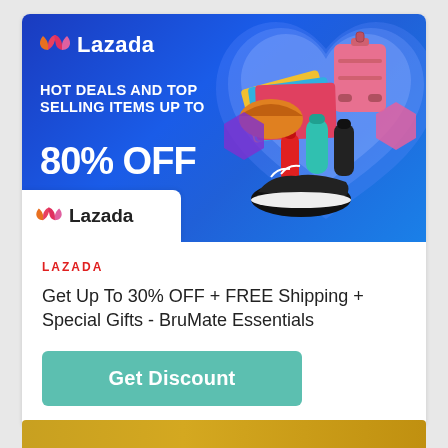[Figure (infographic): Lazada promotional banner with blue gradient background, heart shape, products (luggage, sneakers, etc.), Lazada logo top-left, headline 'HOT DEALS AND TOP SELLING ITEMS UP TO 80% OFF', and pink 'SHOP NOW' button]
[Figure (logo): Lazada logo with orange/pink heart icon and 'Lazada' text in black on white background]
LAZADA
Get Up To 30% OFF + FREE Shipping + Special Gifts - BruMate Essentials
Get Discount